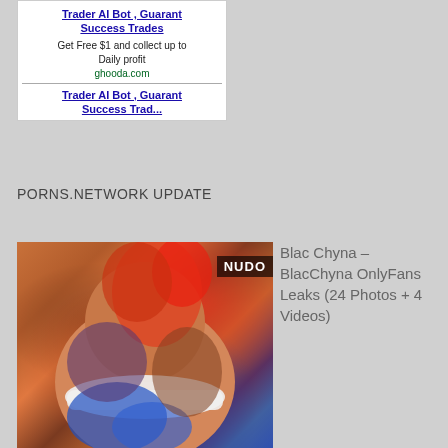[Figure (screenshot): Advertisement box showing 'Trader AI Bot, Guaranteed Success Trades' with text 'Get Free $1 and collect up to Daily profit' and URL ghooda.com, with a second repeated ad below a divider]
PORNS.NETWORK UPDATE
[Figure (photo): Photo of a person with tattoos wearing white underwear, showing back view with colorful tattoos including phoenix/bird and floral designs. Overlay badge reads 'NUDO']
Blac Chyna – BlacChyna OnlyFans Leaks (24 Photos + 4 Videos)